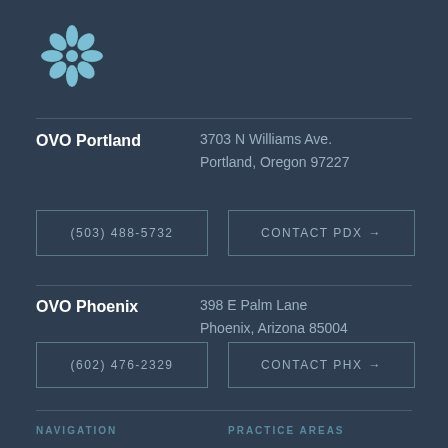[Figure (logo): OVO law firm snowflake/flower logo in light blue]
OVO Portland — 3703 N Williams Ave. Portland, Oregon 97227
(503) 488-5732
CONTACT PDX →
OVO Phoenix — 398 E Palm Lane Phoenix, Arizona 85004
(602) 476-2329
CONTACT PHX →
NAVIGATION    PRACTICE AREAS